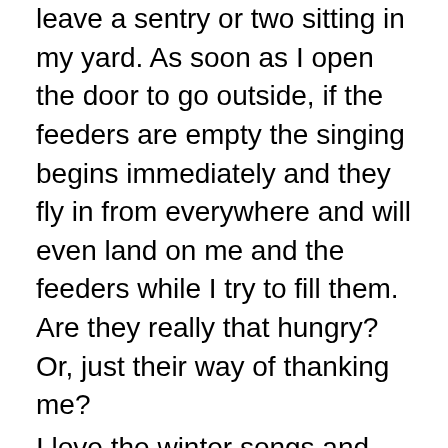leave a sentry or two sitting in my yard. As soon as I open the door to go outside, if the feeders are empty the singing begins immediately and they fly in from everywhere and will even land on me and the feeders while I try to fill them. Are they really that hungry? Or, just their way of thanking me?
I love the winter songs and how they fill up silence of the hibernating woods … but, their songs also wake up the squirrels to the fact there is a new supply of food for the day (so, if you were here, you would hear me shushing them to not tell the squirrels ;-)).
The birds can survive without me, nature provides everything they need. Feeding is sort of a selfish act in that I do it so that they visit and fill my winter woods with life. After you start feeding them … how could anyone look at these little creatures and say "no more seeds"? I know I